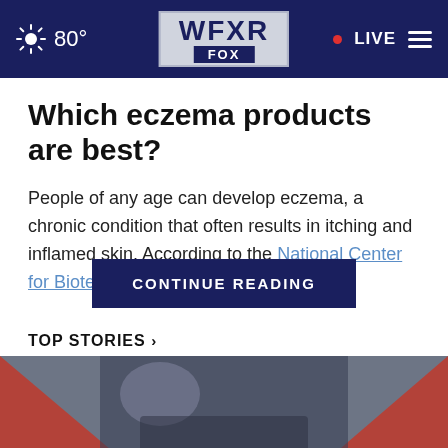80° WFXR FOX • LIVE
Which eczema products are best?
People of any age can develop eczema, a chronic condition that often results in itching and inflamed skin. According to the National Center for Biotechnology … of all adults in
TOP STORIES ›
[Figure (photo): Blurred news image with red and dark blue tones, partially visible at bottom of page]